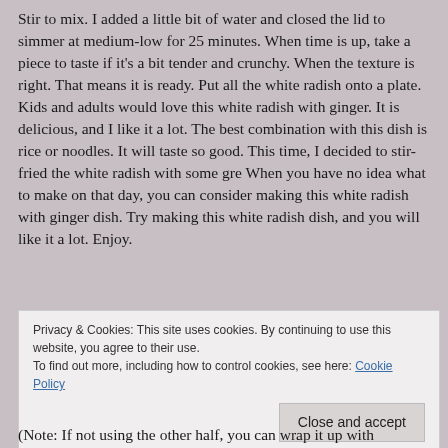Stir to mix. I added a little bit of water and closed the lid to simmer at medium-low for 25 minutes. When time is up, take a piece to taste if it's a bit tender and crunchy. When the texture is right. That means it is ready. Put all the white radish onto a plate. Kids and adults would love this white radish with ginger. It is delicious, and I like it a lot. The best combination with this dish is rice or noodles. It will taste so good. This time, I decided to stir-fried the white radish with some gre When you have no idea what to make on that day, you can consider making this white radish with ginger dish. Try making this white radish dish, and you will like it a lot. Enjoy.
Privacy & Cookies: This site uses cookies. By continuing to use this website, you agree to their use. To find out more, including how to control cookies, see here: Cookie Policy
Close and accept
(Note: If not using the other half, you can wrap it up with